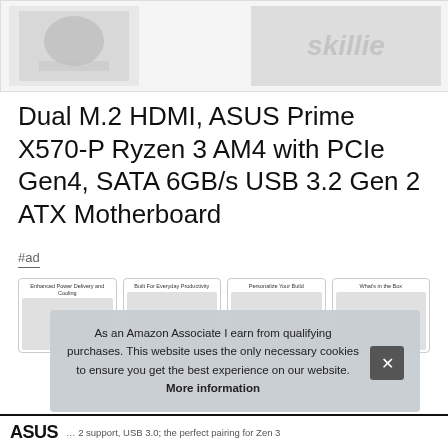[Figure (screenshot): Top cropped product image area showing partial product photo on left and a stylized 'skillie' watermark on right, on light gray background]
Dual M.2 HDMI, ASUS Prime X570-P Ryzen 3 AM4 with PCIe Gen4, SATA 6GB/s USB 3.2 Gen 2 ATX Motherboard
#ad
[Figure (screenshot): Row of four thumbnail cards: Enhanced Power Delivery and Cooling, Built For Everyday Productivity, Personalize Your Build, What's in the Box]
As an Amazon Associate I earn from qualifying purchases. This website uses the only necessary cookies to ensure you get the best experience on our website. More information
ASUS … 2 support, USB 3.0; the perfect pairing for Zen 3